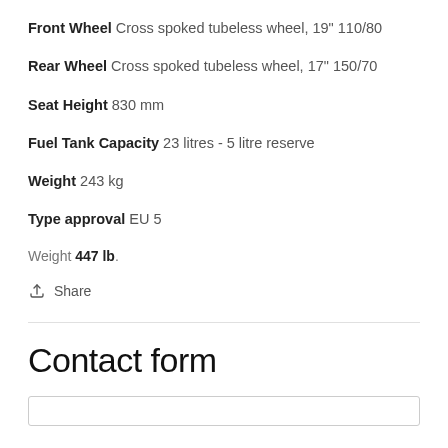Front Wheel Cross spoked tubeless wheel, 19" 110/80
Rear Wheel Cross spoked tubeless wheel, 17" 150/70
Seat Height 830 mm
Fuel Tank Capacity 23 litres - 5 litre reserve
Weight 243 kg
Type approval EU 5
Weight 447 lb.
Share
Contact form